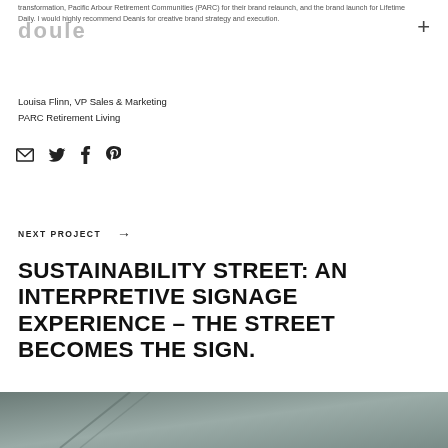doule (logo)
transformation, Pacific Arbour Retirement Communities (PARC) for their brand relaunch, and the brand launch for Lifetime Daily. I would highly recommend Deanis for creative brand strategy and execution.
Louisa Flinn, VP Sales & Marketing
PARC Retirement Living
[Figure (infographic): Social sharing icons: email (envelope), Twitter bird, Facebook f, Pinterest pin]
NEXT PROJECT →
SUSTAINABILITY STREET: AN INTERPRETIVE SIGNAGE EXPERIENCE – THE STREET BECOMES THE SIGN.
[Figure (photo): Dark grey/teal photo strip at bottom of page showing partial outdoor scene]